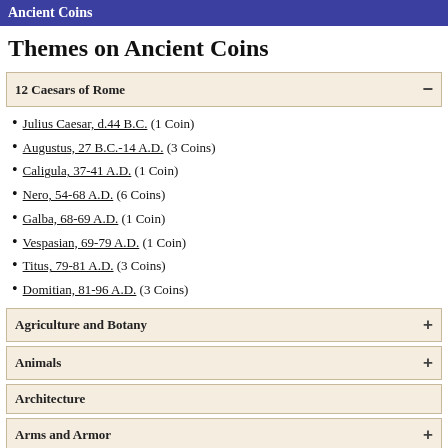Ancient Coins
Themes on Ancient Coins
12 Caesars of Rome −
Julius Caesar, d.44 B.C. (1 Coin)
Augustus, 27 B.C.-14 A.D. (3 Coins)
Caligula, 37-41 A.D. (1 Coin)
Nero, 54-68 A.D. (6 Coins)
Galba, 68-69 A.D. (1 Coin)
Vespasian, 69-79 A.D. (1 Coin)
Titus, 79-81 A.D. (3 Coins)
Domitian, 81-96 A.D. (3 Coins)
Agriculture and Botany +
Animals +
Architecture
Arms and Armor +